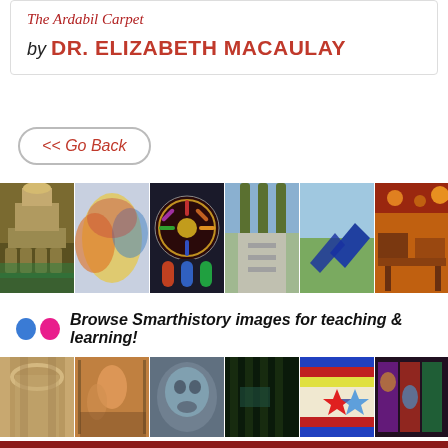The Ardabil Carpet
by DR. ELIZABETH MACAULAY
<< Go Back
[Figure (photo): Strip of six thumbnail art/architecture photos: Paris Opera House, abstract painting, rose window stained glass, outdoor park path, angular sculpture in park, interior scene with warm lighting]
Browse Smarthistory images for teaching & learning!
[Figure (photo): Strip of six thumbnail art images: arched interior hall, painting with figures, close-up animal/creature, dark forest scene, decorative textile/beadwork pattern, colorful mural]
HAVE YOU SEEN OUR
free world art history textbook?